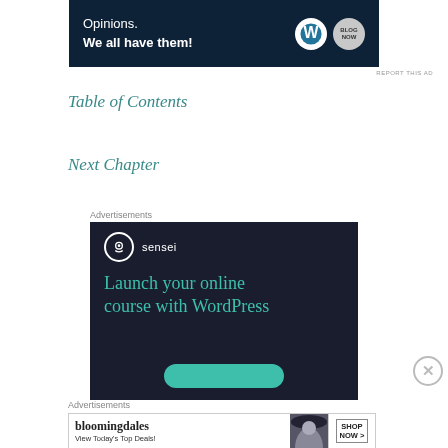[Figure (other): WordPress ad banner: 'Opinions. We all have them!' with WordPress and blog brand logos on dark navy background]
REPORT THIS AD
Table of Contents
Next Chapter
Advertisements
[Figure (other): Sensei ad on dark background: sensei logo, 'Launch your online course with WordPress', teal button]
Advertisements
[Figure (other): Bloomingdales ad: 'bloomingdales View Today's Top Deals!' with woman in hat image and SHOP NOW button]